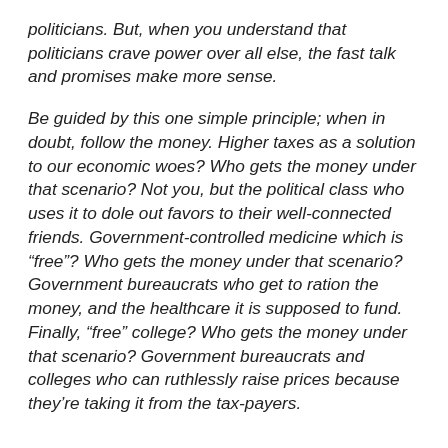politicians. But, when you understand that politicians crave power over all else, the fast talk and promises make more sense.
Be guided by this one simple principle; when in doubt, follow the money. Higher taxes as a solution to our economic woes? Who gets the money under that scenario? Not you, but the political class who uses it to dole out favors to their well-connected friends. Government-controlled medicine which is “free”? Who gets the money under that scenario? Government bureaucrats who get to ration the money, and the healthcare it is supposed to fund. Finally, “free” college? Who gets the money under that scenario? Government bureaucrats and colleges who can ruthlessly raise prices because they’re taking it from the tax-payers.